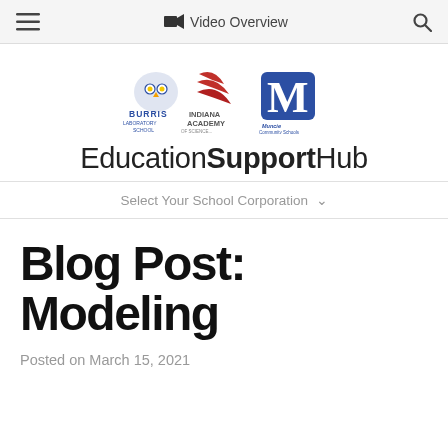Video Overview
[Figure (logo): Burris Laboratory School, Indiana Academy, and Muncie Community Schools logos grouped together]
EducationSupportHub
Select Your School Corporation ∨
Blog Post: Modeling
Posted on March 15, 2021